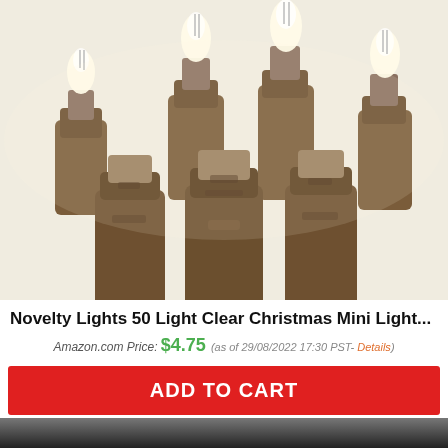[Figure (photo): Close-up photo of Christmas mini light bulbs with clear glass tops and brown plastic sockets/connectors, multiple bulbs arranged together against a white background.]
Novelty Lights 50 Light Clear Christmas Mini Light...
Amazon.com Price: $4.75 (as of 29/08/2022 17:30 PST- Details)
ADD TO CART